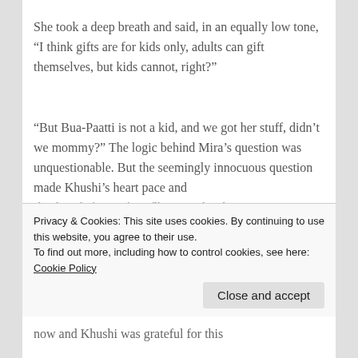She took a deep breath and said, in an equally low tone, “I think gifts are for kids only, adults can gift themselves, but kids cannot, right?”
“But Bua-Paatti is not a kid, and we got her stuff, didn’t we mommy?” The logic behind Mira’s question was unquestionable. But the seemingly innocuous question made Khushi’s heart pace and
Privacy & Cookies: This site uses cookies. By continuing to use this website, you agree to their use.
To find out more, including how to control cookies, see here: Cookie Policy
now and Khushi was grateful for this